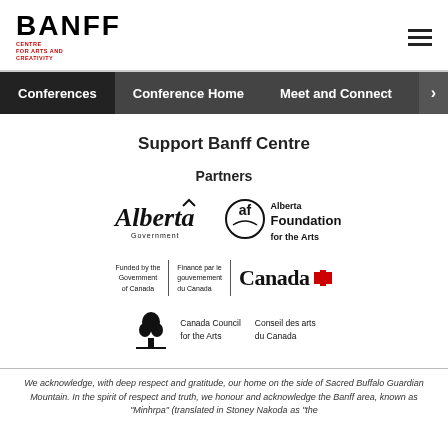Banff Centre for Arts and Creativity
Conferences | Conference Home | Meet and Connect
Support Banff Centre
Partners
[Figure (logo): Alberta Government logo with cursive Alberta wordmark and 'Government' text below]
[Figure (logo): Alberta Foundation for the Arts logo with circular graphic and text]
[Figure (logo): Government of Canada bilingual funding logo with Canada wordmark]
[Figure (logo): Canada Council for the Arts / Conseil des arts du Canada logo with tree symbol]
We acknowledge, with deep respect and gratitude, our home on the side of Sacred Buffalo Guardian Mountain. In the spirit of respect and truth, we honour and acknowledge the Banff area, known as "Minhrpa" (translated in Stoney Nakoda as "the